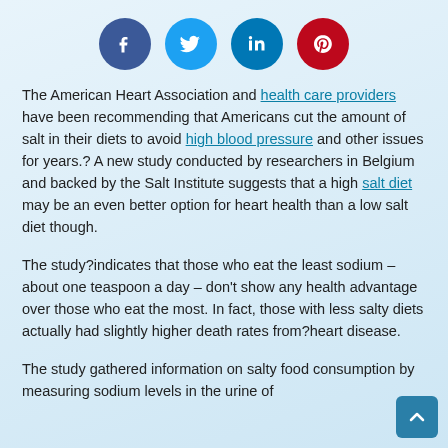[Figure (other): Social media share icons: Facebook (dark blue circle), Twitter (light blue circle), LinkedIn (teal circle), Pinterest (red circle)]
The American Heart Association and health care providers have been recommending that Americans cut the amount of salt in their diets to avoid high blood pressure and other issues for years.? A new study conducted by researchers in Belgium and backed by the Salt Institute suggests that a high salt diet may be an even better option for heart health than a low salt diet though.
The study?indicates that those who eat the least sodium – about one teaspoon a day – don't show any health advantage over those who eat the most. In fact, those with less salty diets actually had slightly higher death rates from?heart disease.
The study gathered information on salty food consumption by measuring sodium levels in the urine of